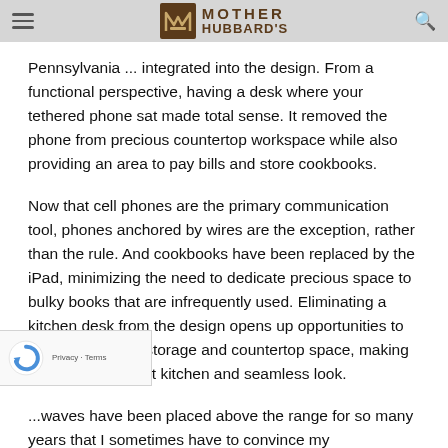Mother Hubbard's — site header with hamburger menu and search icon
Pennsylvania ... integrated into the design. From a functional perspective, having a desk where your tethered phone sat made total sense. It removed the phone from precious countertop workspace while also providing an area to pay bills and store cookbooks.
Now that cell phones are the primary communication tool, phones anchored by wires are the exception, rather than the rule. And cookbooks have been replaced by the iPad, minimizing the need to dedicate precious space to bulky books that are infrequently used. Eliminating a kitchen desk from the design opens up opportunities to increase cabinet storage and countertop space, making for a more efficient kitchen and seamless look.
...waves have been placed above the range for so many years that I sometimes have to convince my